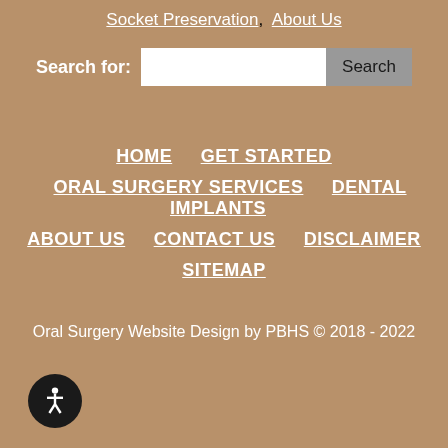Socket Preservation, About Us
Search for: [input] Search
HOME  GET STARTED  ORAL SURGERY SERVICES  DENTAL IMPLANTS  ABOUT US  CONTACT US  DISCLAIMER  SITEMAP
Oral Surgery Website Design by PBHS © 2018 - 2022